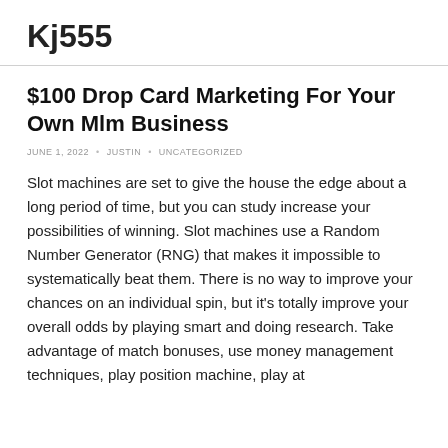Kj555
$100 Drop Card Marketing For Your Own Mlm Business
JUNE 1, 2022 • JUSTIN • UNCATEGORIZED
Slot machines are set to give the house the edge about a long period of time, but you can study increase your possibilities of winning. Slot machines use a Random Number Generator (RNG) that makes it impossible to systematically beat them. There is no way to improve your chances on an individual spin, but it's totally improve your overall odds by playing smart and doing research. Take advantage of match bonuses, use money management techniques, play position machine, play at